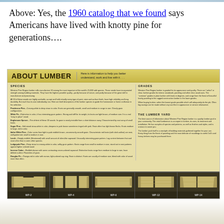Above: Yes, the 1960 catalog that we found says Americans have lived with knotty pine for generations….
[Figure (photo): Scanned page from a 1960 lumber catalog titled 'ABOUT LUMBER' with sections on Species, Grades, Patterns, and The Lumber Yard, plus wood profile diagrams at the bottom labeled WP-2, WP-4, WP-6, WP-12, WP-14.]